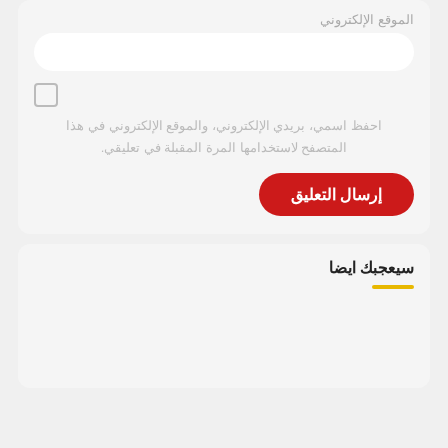الموقع الإلكتروني
احفظ اسمي، بريدي الإلكتروني، والموقع الإلكتروني في هذا المتصفح لاستخدامها المرة المقبلة في تعليقي.
إرسال التعليق
سيعجبك ايضا